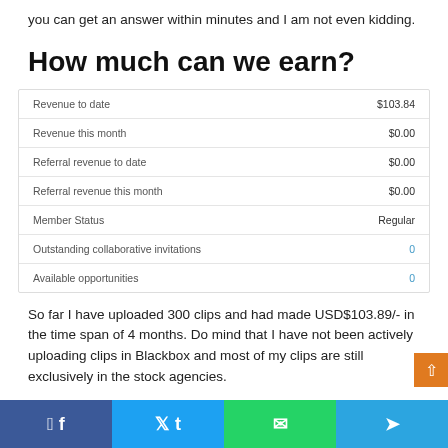you can get an answer within minutes and I am not even kidding.
How much can we earn?
|  |  |
| --- | --- |
| Revenue to date | $103.84 |
| Revenue this month | $0.00 |
| Referral revenue to date | $0.00 |
| Referral revenue this month | $0.00 |
| Member Status | Regular |
| Outstanding collaborative invitations | 0 |
| Available opportunities | 0 |
So far I have uploaded 300 clips and had made USD$103.89/- in the time span of 4 months. Do mind that I have not been actively uploading clips in Blackbox and most of my clips are still exclusively in the stock agencies.